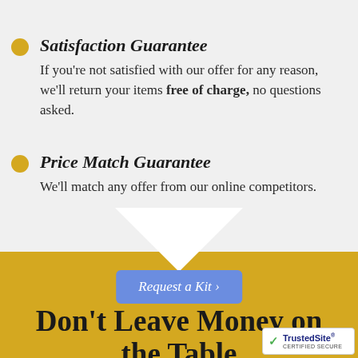Satisfaction Guarantee — If you're not satisfied with our offer for any reason, we'll return your items free of charge, no questions asked.
Price Match Guarantee — We'll match any offer from our online competitors.
[Figure (infographic): White downward-pointing chevron/arrow shape separating the light gray section from the gold section below]
Request a Kit >
Don't Leave Money on the Table
[Figure (logo): TrustedSite Certified Secure badge with green checkmark]